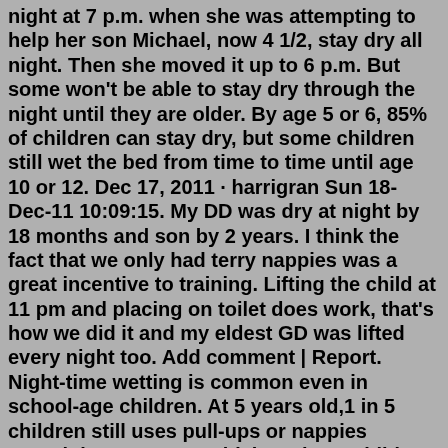night at 7 p.m. when she was attempting to help her son Michael, now 4 1/2, stay dry all night. Then she moved it up to 6 p.m. But some won't be able to stay dry through the night until they are older. By age 5 or 6, 85% of children can stay dry, but some children still wet the bed from time to time until age 10 or 12. Dec 17, 2011 · harrigran Sun 18-Dec-11 10:09:15. My DD was dry at night by 18 months and son by 2 years. I think the fact that we only had terry nappies was a great incentive to training. Lifting the child at 11 pm and placing on toilet does work, that's how we did it and my eldest GD was lifted every night too. Add comment | Report. Night-time wetting is common even in school-age children. At 5 years old,1 in 5 children still uses pull-ups or nappies overnight. At 6 years old, it's 1 in 10 children. Symptoms of bedwetting. Bedwetting happens at night. Some children wet the bed every night. Others wet only a few times a week, once a week or once a month.6. Anxiety Or Depression. Anxiety or depression could cause sleeping trouble and result in your waking up at